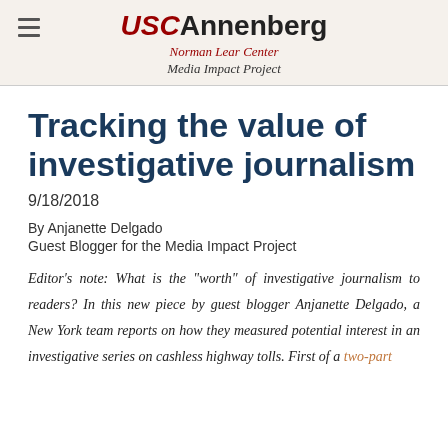USC Annenberg Norman Lear Center Media Impact Project
Tracking the value of investigative journalism
9/18/2018
By Anjanette Delgado
Guest Blogger for the Media Impact Project
Editor's note: What is the “worth” of investigative journalism to readers? In this new piece by guest blogger Anjanette Delgado, a New York team reports on how they measured potential interest in an investigative series on cashless highway tolls. First of a two-part